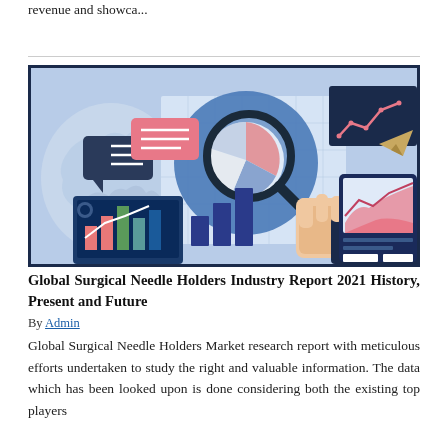revenue and showca...
[Figure (illustration): Market research illustration showing a hand holding a magnifying glass over a pie chart, with a laptop displaying bar charts, speech bubbles, a line chart on a dark background panel, a world map silhouette, bar graphs, and an area chart on a tablet device. Blue, pink, and dark navy color scheme.]
Global Surgical Needle Holders Industry Report 2021 History, Present and Future
By Admin
Global Surgical Needle Holders Market research report with meticulous efforts undertaken to study the right and valuable information. The data which has been looked upon is done considering both the existing top players